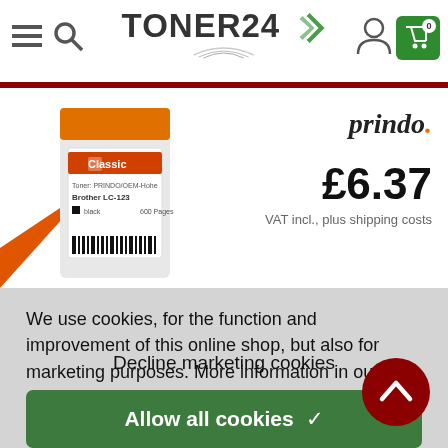[Figure (screenshot): Toner24 website header with hamburger menu, search icon, TONER24 logo with swoosh, user icon, and green shopping cart with 0 badge]
[Figure (photo): Prindo Classic ink cartridge product image with orange cap and barcode label for Brother LC-103]
prindo.
£6.37
VAT incl., plus shipping costs
We use cookies, for the function and improvement of this online shop, but also for marketing purposes. More information in our  Privacy policy
Decline marketing cookies
Allow all cookies ✓